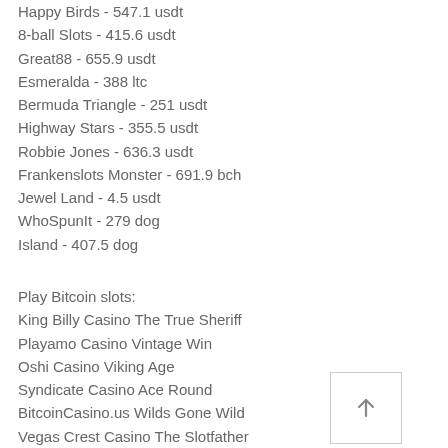Happy Birds - 547.1 usdt
8-ball Slots - 415.6 usdt
Great88 - 655.9 usdt
Esmeralda - 388 ltc
Bermuda Triangle - 251 usdt
Highway Stars - 355.5 usdt
Robbie Jones - 636.3 usdt
Frankenslots Monster - 691.9 bch
Jewel Land - 4.5 usdt
WhoSpunIt - 279 dog
Island - 407.5 dog
Play Bitcoin slots:
King Billy Casino The True Sheriff
Playamo Casino Vintage Win
Oshi Casino Viking Age
Syndicate Casino Ace Round
BitcoinCasino.us Wilds Gone Wild
Vegas Crest Casino The Slotfather
Playamo Casino Blazing Goddess
mBit Casino SteamPunk Big City